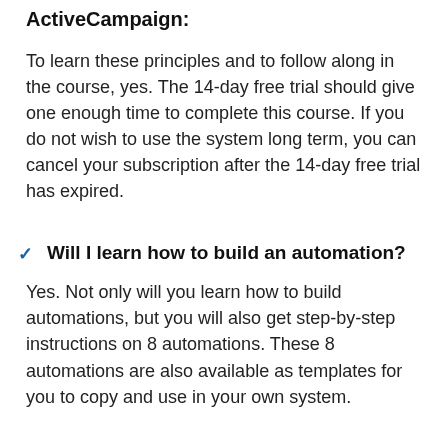ActiveCampaign:
To learn these principles and to follow along in the course, yes. The 14-day free trial should give one enough time to complete this course. If you do not wish to use the system long term, you can cancel your subscription after the 14-day free trial has expired.
Will I learn how to build an automation?
Yes. Not only will you learn how to build automations, but you will also get step-by-step instructions on 8 automations. These 8 automations are also available as templates for you to copy and use in your own system.